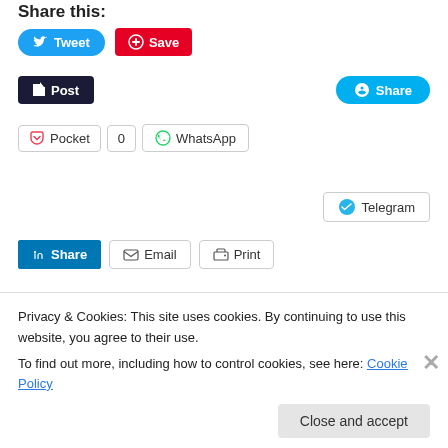Share this:
[Figure (screenshot): Social sharing buttons: Tweet (Twitter), Save (Pinterest), Post (Tumblr), Share (Skype), Pocket with count 0, WhatsApp, Telegram, LinkedIn Share, Email, Print]
Loading...
July 29, 2014    Leave a Reply
Privacy & Cookies: This site uses cookies. By continuing to use this website, you agree to their use.
To find out more, including how to control cookies, see here: Cookie Policy
Close and accept